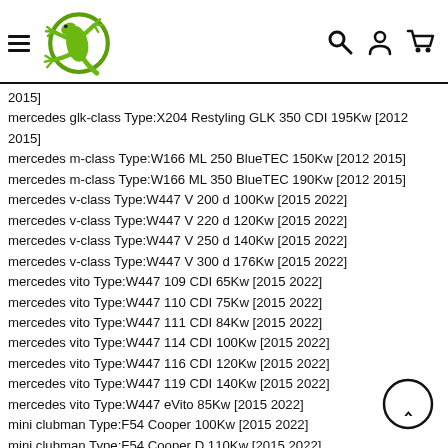Navigation header with logo and icons
2015]
mercedes glk-class Type:X204 Restyling GLK 350 CDI 195Kw [2012 2015]
mercedes m-class Type:W166 ML 250 BlueTEC 150Kw [2012 2015]
mercedes m-class Type:W166 ML 350 BlueTEC 190Kw [2012 2015]
mercedes v-class Type:W447 V 200 d 100Kw [2015 2022]
mercedes v-class Type:W447 V 220 d 120Kw [2015 2022]
mercedes v-class Type:W447 V 250 d 140Kw [2015 2022]
mercedes v-class Type:W447 V 300 d 176Kw [2015 2022]
mercedes vito Type:W447 109 CDI 65Kw [2015 2022]
mercedes vito Type:W447 110 CDI 75Kw [2015 2022]
mercedes vito Type:W447 111 CDI 84Kw [2015 2022]
mercedes vito Type:W447 114 CDI 100Kw [2015 2022]
mercedes vito Type:W447 116 CDI 120Kw [2015 2022]
mercedes vito Type:W447 119 CDI 140Kw [2015 2022]
mercedes vito Type:W447 eVito 85Kw [2015 2022]
mini clubman Type:F54 Cooper 100Kw [2015 2022]
mini clubman Type:F54 Cooper D 110Kw [2015 2022]
mini clubman Type:F54 Cooper S 141Kw [2015 2022]
mini clubman Type:F54 Cooper S JCW 155Kw [2015 2022]
mini clubman Type:F54 Cooper SD 149Kw [2015 2022]